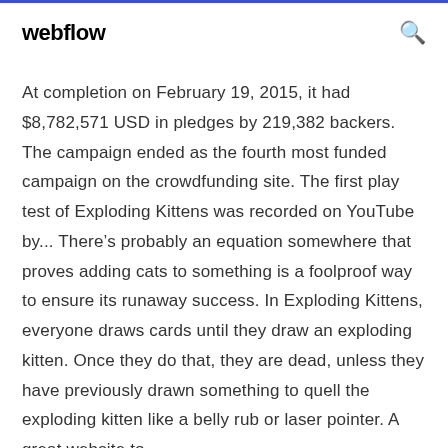webflow
At completion on February 19, 2015, it had $8,782,571 USD in pledges by 219,382 backers. The campaign ended as the fourth most funded campaign on the crowdfunding site. The first play test of Exploding Kittens was recorded on YouTube by... There’s probably an equation somewhere that proves adding cats to something is a foolproof way to ensure its runaway success. In Exploding Kittens, everyone draws cards until they draw an exploding kitten. Once they do that, they are dead, unless they have previously drawn something to quell the exploding kitten like a belly rub or laser pointer. A great website to